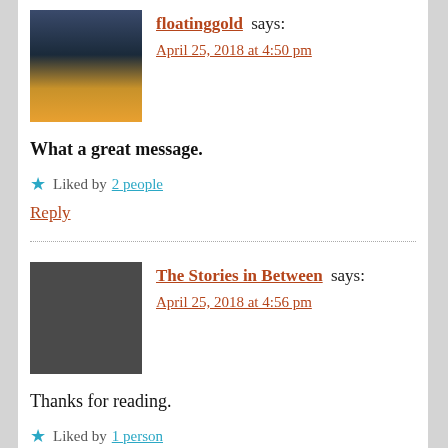[Figure (photo): Avatar image of floatinggold user showing a storm tree silhouette against dramatic sky]
floatinggold says:
April 25, 2018 at 4:50 pm
What a great message.
Liked by 2 people
Reply
[Figure (photo): Avatar image of The Stories in Between user showing a bearded man in black and white]
The Stories in Between says:
April 25, 2018 at 4:56 pm
Thanks for reading.
Liked by 1 person
Reply